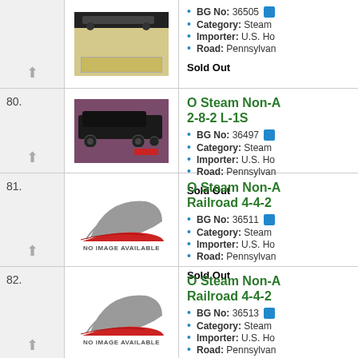[Figure (photo): Partial view of a model train item with beige/tan accessories, top of page]
BG No: 36505
Category: Steam
Importer: U.S. Ho
Road: Pennsylvan
Sold Out
80.
[Figure (photo): Model steam locomotive 2-8-2 L-1S on maroon/purple base]
O Steam Non-A 2-8-2 L-1S
BG No: 36497
Category: Steam
Importer: U.S. Ho
Road: Pennsylvan
Sold Out
81.
[Figure (illustration): No Image Available placeholder with gray/red logo]
O Steam Non-A Railroad 4-4-2
BG No: 36511
Category: Steam
Importer: U.S. Ho
Road: Pennsylvan
Sold Out
82.
[Figure (illustration): No Image Available placeholder with gray/red logo]
O Steam Non-A Railroad 4-4-2
BG No: 36513
Category: Steam
Importer: U.S. Ho
Road: Pennsylvan
Sold Out